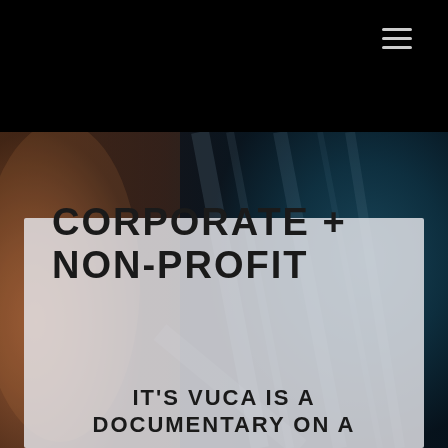[Figure (photo): Abstract blurred photo with warm orange/brown tones on the left and dark teal/blue tones on the right, with light streaks suggesting motion or glass reflections]
CORPORATE + NON-PROFIT
IT'S VUCA IS A DOCUMENTARY ON A